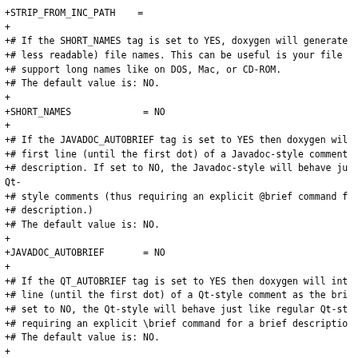+STRIP_FROM_INC_PATH    =
+
+# If the SHORT_NAMES tag is set to YES, doxygen will generate
+# less readable) file names. This can be useful is your file
+# support long names like on DOS, Mac, or CD-ROM.
+# The default value is: NO.
+
+SHORT_NAMES             = NO
+
+# If the JAVADOC_AUTOBRIEF tag is set to YES then doxygen wil
+# first line (until the first dot) of a Javadoc-style comment
+# description. If set to NO, the Javadoc-style will behave ju
Qt-
+# style comments (thus requiring an explicit @brief command f
+# description.)
+# The default value is: NO.
+
+JAVADOC_AUTOBRIEF       = NO
+
+# If the QT_AUTOBRIEF tag is set to YES then doxygen will int
+# line (until the first dot) of a Qt-style comment as the bri
+# set to NO, the Qt-style will behave just like regular Qt-st
+# requiring an explicit \brief command for a brief descriptio
+# The default value is: NO.
+